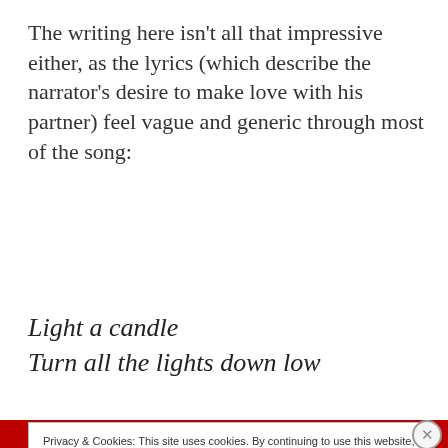The writing here isn’t all that impressive either, as the lyrics (which describe the narrator’s desire to make love with his partner) feel vague and generic through most of the song:
Light a candle
Turn all the lights down low
Privacy & Cookies: This site uses cookies. By continuing to use this website, you agree to their use.
To find out more, including how to control cookies, see here:
Cookie Policy
Close and accept